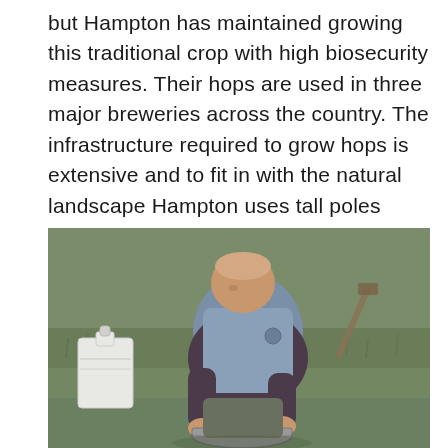but Hampton has maintained growing this traditional crop with high biosecurity measures. Their hops are used in three major breweries across the country. The infrastructure required to grow hops is extensive and to fit in with the natural landscape Hampton uses tall poles made of chestnut from their own woodland.
[Figure (photo): A man wearing a grey/blue vest and dark long-sleeve shirt kneeling on grass, bending over and using a measuring tape on what appears to be a metal pan or container on the ground. A white plastic jerry can is visible to the left, and a shovel handle is visible in the background. The setting is a grassy outdoor area.]